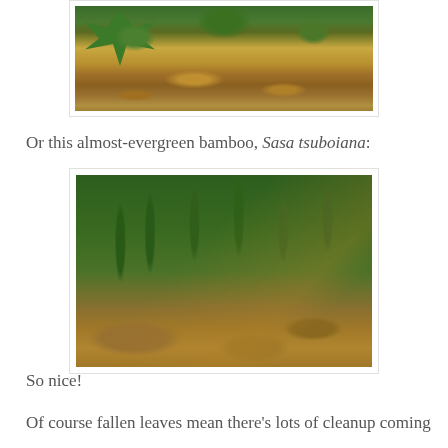[Figure (photo): Close-up photo of fallen autumn leaves (yellow, orange, brown) on the ground with some green maple-like foliage visible at the top.]
Or this almost-evergreen bamboo, Sasa tsuboiana:
[Figure (photo): Photo of Sasa tsuboiana bamboo with long dark green leaves spreading above a ground covered with fallen autumn leaves in orange and brown tones.]
So nice!
Of course fallen leaves mean there's lots of cleanup coming